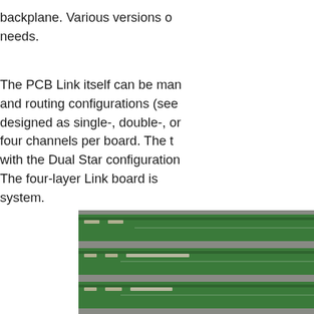backplane. Various versions of needs.
The PCB Link itself can be manufactured in various layer and routing configurations (see designed as single-, double-, or four channels per board. The t with the Dual Star configuration. The four-layer Link board is system.
[Figure (photo): Three green PCB Link boards shown stacked/layered on a grey background, each board showing connector components on the left side and trace lines running horizontally across the board.]